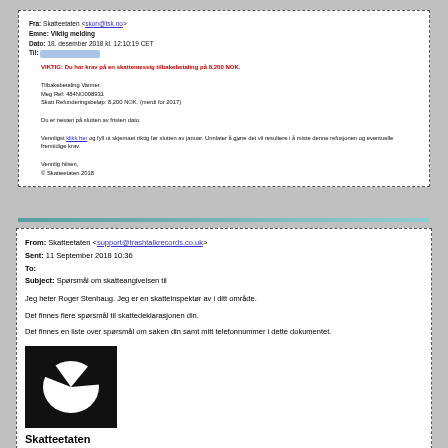Fra: Skatteetaten <skon@tsk.no>
Emne: Viktig melding
Dato: 18. desember 2018 kl. 12:10:19 CET
Til: [redacted]
VIKTIG: Du har krav på en skattemessig tilbakebetaling på 8,200 NOK.

Tilbakebetaling Vanner.
Meg Ref: 484NO008931
Skatt Refunderingsbeløp: 8,200 NOK. (merdi for 2017)

Du er nesten på slutten av fristen dato.

Vennligst klikk her og fyll ut skjemaet riktig før slutten av januar. Unnlater å gjøre det vil resultere i å miste denne refusjonen og eventuelle fremtidige krav.

Vennlig hilsen,
© Skatteetaten 2018
From: Skatteetaten <support@trashtalkrecords.co.uk>
Sent: 11 September 2018 10:36
To:
Subject: Spørsmål om skatteangivelsen til

Jeg heter Roger Stenhaug. Jeg er en skatteinspektør av i ditt område.

Det finnes flere spørsmål til skattedeklarasjonen din.

Det finnes en liste over spørsmål om saken din samt mitt telefonnummer i dette dokumentet.
[Figure (logo): Skatteetaten logo: white pie/slice shape on black background]
Skatteetaten